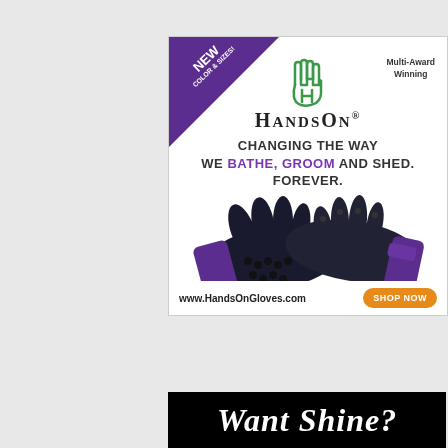[Figure (advertisement): HandsOn Gloves advertisement. Purple triangle banner in top-left corner reads 'NEW COLOR & SIZES!' in white text. Green hand logo in center top. 'Multi-Award Winning' text in top right. Brand name 'HandsOn' with registered mark. Tagline: 'CHANGING THE WAY WE BATHE, GROOM AND SHED. FOREVER.' with BATHE and GROOM in purple. Photo of black grooming gloves. Footer with 'www.HandsOnGloves.com' and orange 'SHOP NOW' button.]
[Figure (advertisement): Bottom black banner with white cursive/italic text reading 'Want Shine?']